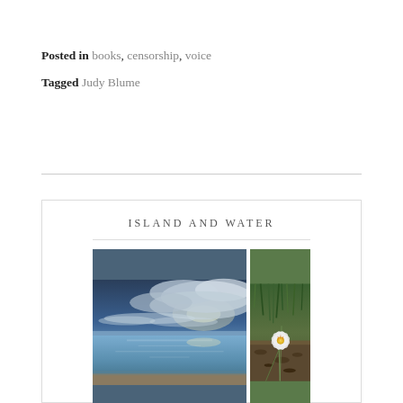Posted in books, censorship, voice
Tagged Judy Blume
ISLAND AND WATER
[Figure (photo): Two photographs side by side: left shows a wide ocean/seascape with dramatic clouds and calm reflective water; right shows a white crocus flower with yellow center growing among grass and soil.]